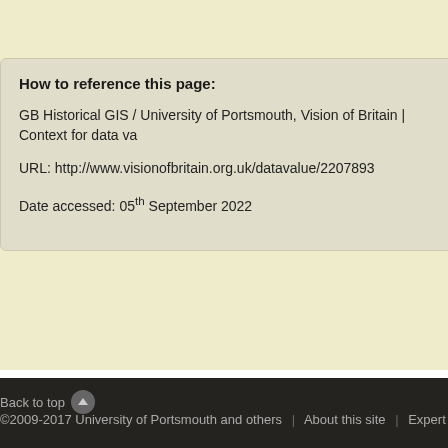How to reference this page:
GB Historical GIS / University of Portsmouth, Vision of Britain | Context for data va
URL: http://www.visionofbritain.org.uk/datavalue/2207893
Date accessed: 05th September 2022
Back to top  ©2009-2017 University of Portsmouth and others | About this site | Expert search | Web